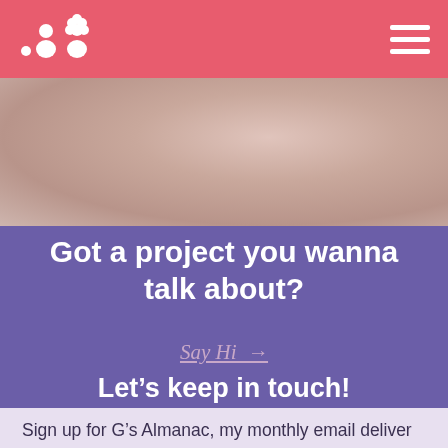[Logo icon] [Hamburger menu]
[Figure (photo): Close-up blurred photo with warm pinkish-beige tones, appears to be a person's skin]
Got a project you wanna talk about?
Say Hi →
Let's keep in touch!
Sign up for G's Almanac, my monthly email deliver my next story straight to your inbox.